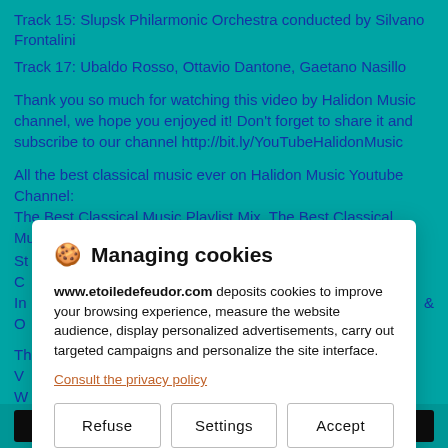Track 15: Slupsk Philarmonic Orchestra conducted by Silvano Frontalini
Track 17: Ubaldo Rosso, Ottavio Dantone, Gaetano Nasillo
Thank you so much for watching this video by Halidon Music channel, we hope you enjoyed it! Don't forget to share it and subscribe to our channel http://bit.ly/YouTubeHalidonMusic
All the best classical music ever on Halidon Music Youtube Channel: The Best Classical Music Playlist Mix, The Best Classical Music For St... C... In... & O...
Th... V... W...
[Figure (screenshot): Cookie consent modal dialog from www.etoiledefeudor.com overlaying a YouTube video description page. The modal has title 'Managing cookies' with cookie emoji, body text explaining cookie usage, a link 'Consult the privacy policy', and three buttons: Refuse, Settings, Accept.]
Managing cookies
www.etoiledefeudor.com deposits cookies to improve your browsing experience, measure the website audience, display personalized advertisements, carry out targeted campaigns and personalize the site interface.
Consult the privacy policy